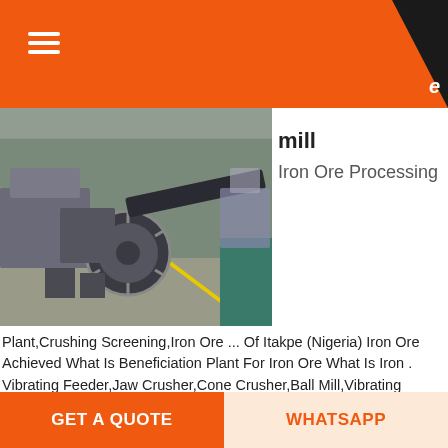[Figure (photo): Industrial mining/crushing machine — jaw crusher or cone crusher on a factory floor with large wheel mechanism and conveyor belt]
mill
Iron Ore Processing
Plant,Crushing Screening,Iron Ore ... Of Itakpe (Nigeria) Iron Ore Achieved What Is Beneficiation Plant For Iron Ore What Is Iron . Vibrating Feeder,Jaw Crusher,Cone Crusher,Ball Mill,Vibrating Screen,M.
GET PRICE
[Figure (photo): Industrial factory or plant interior with steel structures and machinery]
bulldozer used in mining at
GET A QUOTE    WHATSAPP